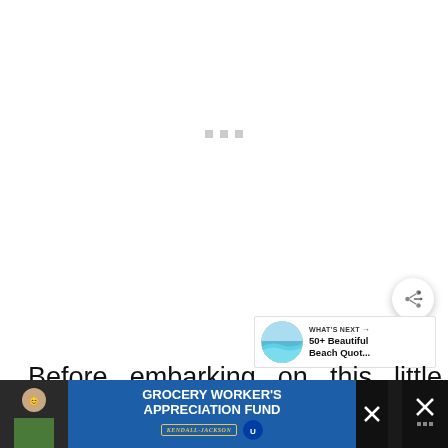[Figure (screenshot): White loading area with three small gray squares (loading indicator dots) centered, representing a loading/buffering video or image embed.]
[Figure (other): Circular share button (white circle with shadow) containing a share/network icon (three connected dots with lines).]
[Figure (other): WHAT'S NEXT panel showing a beach thumbnail image and text '50+ Beautiful Beach Quot...']
Before embarking on this little adventure with this …
[Figure (screenshot): Advertisement bar: GROCERY WORKER'S APPRECIATION FUND with Kendall-Jackson and United Way logos, close button (X), and additional icons on the right.]